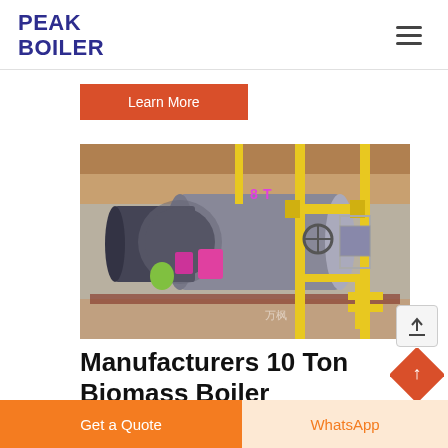PEAK BOILER
Learn More
[Figure (photo): Industrial boiler equipment with large cylindrical tanks and yellow pipes in a factory setting]
Manufacturers 10 Ton Biomass Boiler
Get a Quote | WhatsApp